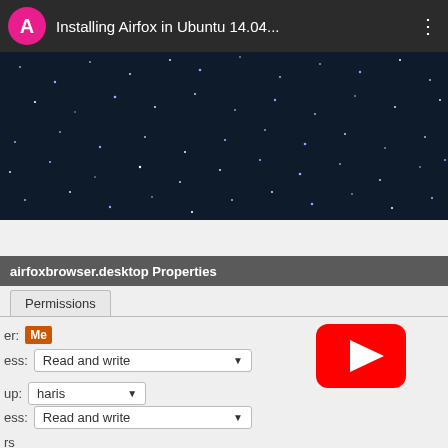[Figure (screenshot): YouTube video card showing 'Installing Airfox in Ubuntu 14.04...' with a pink avatar circle with letter A, dark thumbnail with starfield, and three-dot menu icon]
[Figure (screenshot): Browser navigation bar showing partial tab text 'ads', active tab 'Downloads']
airfoxbrowser.desktop Properties
Permissions
er: Me
ess: Read and write
up: haris
ess: Read and write
rs
[Figure (logo): YouTube play button logo (red rectangle with white triangle play icon)]